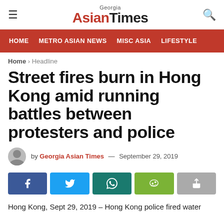Georgia Asian Times
HOME  METRO ASIAN NEWS  MISC ASIA  LIFESTYLE
Home › Headline
Street fires burn in Hong Kong amid running battles between protesters and police
by Georgia Asian Times — September 29, 2019
[Figure (other): Social share buttons: Facebook, Twitter, WhatsApp, WeChat, Share]
Hong Kong, Sept 29, 2019 – Hong Kong police fired water